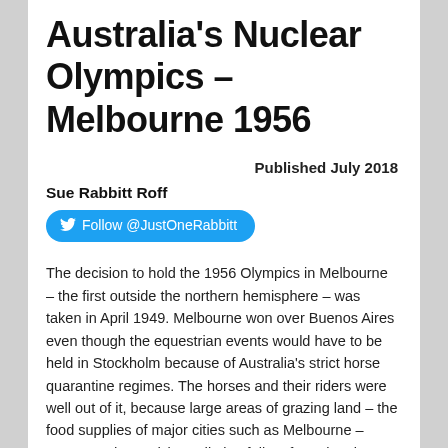Australia's Nuclear Olympics – Melbourne 1956
Published July 2018
Sue Rabbitt Roff
Follow @JustOneRabbitt
The decision to hold the 1956 Olympics in Melbourne – the first outside the northern hemisphere – was taken in April 1949. Melbourne won over Buenos Aires even though the equestrian events would have to be held in Stockholm because of Australia's strict horse quarantine regimes. The horses and their riders were well out of it, because large areas of grazing land – the food supplies of major cities such as Melbourne – were 'top-dressed' by radiation fallout from the six atomic bombs detonated by